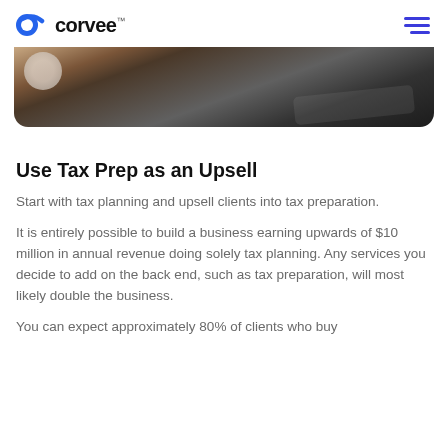corvee
[Figure (photo): Partial photo of a laptop on a wooden desk, seen from above, with a white cup partially visible on the left side. The image is cropped showing just the bottom portion.]
Use Tax Prep as an Upsell
Start with tax planning and upsell clients into tax preparation.
It is entirely possible to build a business earning upwards of $10 million in annual revenue doing solely tax planning. Any services you decide to add on the back end, such as tax preparation, will most likely double the business.
You can expect approximately 80% of clients who buy